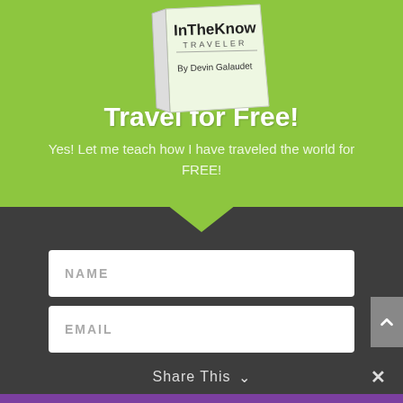[Figure (illustration): Book cover showing 'InTheKnow Traveler' by Devin Galaudet, displayed at an angle on a green background]
Travel for Free!
Yes! Let me teach how I have traveled the world for FREE!
[Figure (screenshot): Web form with NAME and EMAIL input fields and a yellow 'Pack your Bags!' submit button on dark background]
Share This  ×